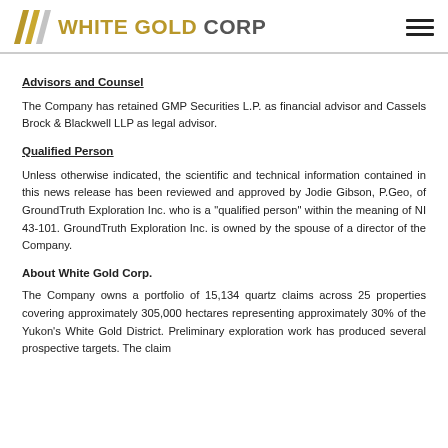WHITE GOLD CORP
Advisors and Counsel
The Company has retained GMP Securities L.P. as financial advisor and Cassels Brock & Blackwell LLP as legal advisor.
Qualified Person
Unless otherwise indicated, the scientific and technical information contained in this news release has been reviewed and approved by Jodie Gibson, P.Geo, of GroundTruth Exploration Inc. who is a "qualified person" within the meaning of NI 43-101. GroundTruth Exploration Inc. is owned by the spouse of a director of the Company.
About White Gold Corp.
The Company owns a portfolio of 15,134 quartz claims across 25 properties covering approximately 305,000 hectares representing approximately 30% of the Yukon's White Gold District. Preliminary exploration work has produced several prospective targets. The claim